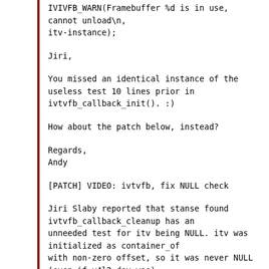IVIVFB_WARN(Framebuffer %d is in use, cannot unload\n,
  itv-instance);
Jiri,
You missed an identical instance of the useless test 10 lines prior in ivtvfb_callback_init(). :)
How about the patch below, instead?
Regards,
Andy
[PATCH] VIDEO: ivtvfb, fix NULL check
Jiri Slaby reported that stanse found ivtvfb_callback_cleanup has an unneeded test for itv being NULL. itv was initialized as container_of with non-zero offset, so it was never NULL (even if v4l2_dev was).